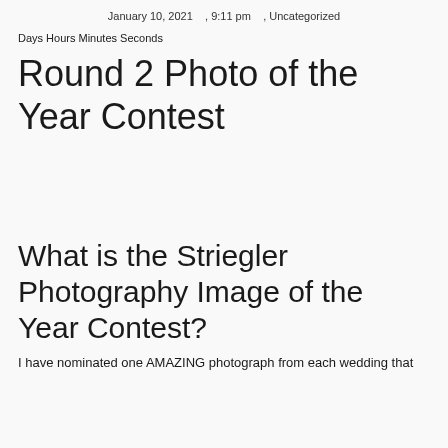January 10, 2021     , 9:11 pm     , Uncategorized
Days Hours Minutes Seconds
Round 2 Photo of the Year Contest
What is the Striegler Photography Image of the Year Contest?
I have nominated one AMAZING photograph from each wedding that